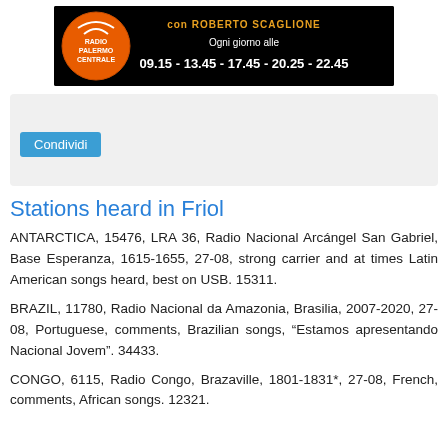[Figure (other): Radio Palermo Centrale advertisement banner with orange circle logo and broadcast times. Text reads 'con ROBERTO SCAGLIONE', 'Ogni giorno alle', '09.15 - 13.45 - 17.45 - 20.25 - 22.45']
Condividi
Stations heard in Friol
ANTARCTICA, 15476, LRA 36, Radio Nacional Arcángel San Gabriel, Base Esperanza, 1615-1655, 27-08, strong carrier and at times Latin American songs heard, best on USB. 15311.
BRAZIL, 11780, Radio Nacional da Amazonia, Brasilia, 2007-2020, 27-08, Portuguese, comments, Brazilian songs, “Estamos apresentando Nacional Jovem”. 34433.
CONGO, 6115, Radio Congo, Brazaville, 1801-1831*, 27-08, French, comments, African songs. 12321.